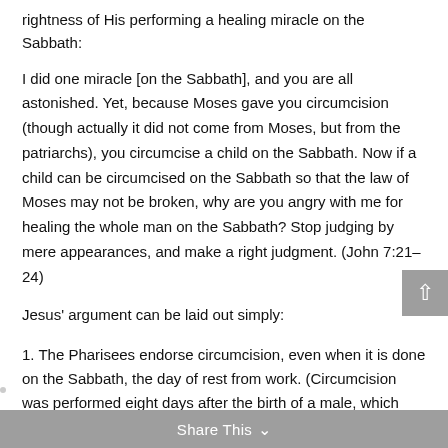rightness of His performing a healing miracle on the Sabbath:
I did one miracle [on the Sabbath], and you are all astonished. Yet, because Moses gave you circumcision (though actually it did not come from Moses, but from the patriarchs), you circumcise a child on the Sabbath. Now if a child can be circumcised on the Sabbath so that the law of Moses may not be broken, why are you angry with me for healing the whole man on the Sabbath? Stop judging by mere appearances, and make a right judgment. (John 7:21–24)
Jesus' argument can be laid out simply:
1. The Pharisees endorse circumcision, even when it is done on the Sabbath, the day of rest from work. (Circumcision was performed eight days after the birth of a male, which sometimes fell on the seventh day of the week, the Sabbath.) This does not violate the Sabbath laws, because it is an act of goodness.
Share This